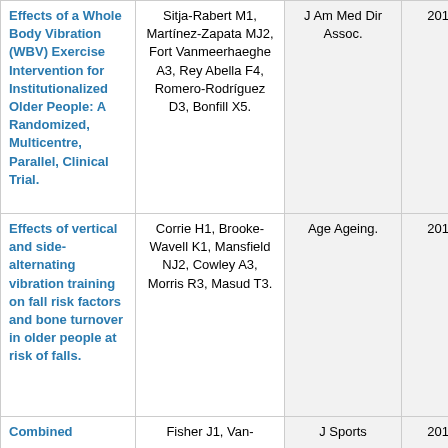| Title | Authors | Journal | Date |
| --- | --- | --- | --- |
| Effects of a Whole Body Vibration (WBV) Exercise Intervention for Institutionalized Older People: A Randomized, Multicentre, Parallel, Clinical Trial. | Sitja-Rabert M1, Martínez-Zapata MJ2, Fort Vanmeerhaeghe A3, Rey Abella F4, Romero-Rodríguez D3, Bonfill X5. | J Am Med Dir Assoc. | 2014 Oct 1 |
| Effects of vertical and side-alternating vibration training on fall risk factors and bone turnover in older people at risk of falls. | Corrie H1, Brooke-Wavell K1, Mansfield NJ2, Cowley A3, Morris R3, Masud T3. | Age Ageing. | 2014 Oct 7 |
| Combined | Fisher J1, Van- | J Sports | 2014 Oct 8 |